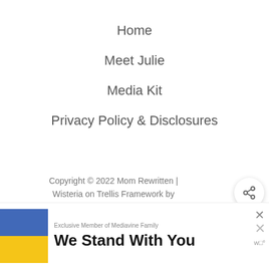Home
Meet Julie
Media Kit
Privacy Policy & Disclosures
Copyright © 2022 Mom Rewritten | Wisteria on Trellis Framework by Mediavine
[Figure (infographic): Share button icon (circular button with share symbol)]
[Figure (infographic): WHAT'S NEXT panel showing thumbnail and text 'Surviving Disneyland i...']
Exclusive Member of Mediavine Family
[Figure (infographic): Ukrainian flag colors (blue and yellow) with text 'We Stand With You' ad banner with close X buttons]